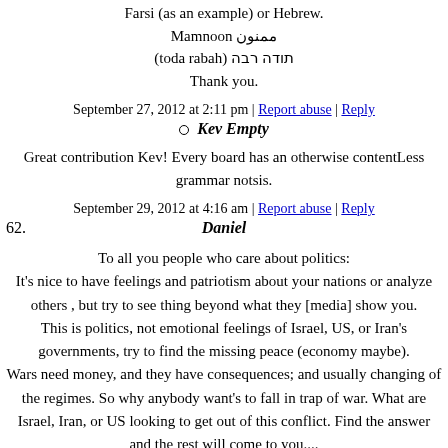Farsi (as an example) or Hebrew.
Mamnoon ممنون
(toda rabah) תודה רבה
Thank you.
September 27, 2012 at 2:11 pm | Report abuse | Reply
Kev Empty
Great contribution Kev! Every board has an otherwise contentLess grammar notsis.
September 29, 2012 at 4:16 am | Report abuse | Reply
62. Daniel
To all you people who care about politics:
It's nice to have feelings and patriotism about your nations or analyze others , but try to see thing beyond what they [media] show you.
This is politics, not emotional feelings of Israel, US, or Iran's governments, try to find the missing peace (economy maybe).
Wars need money, and they have consequences; and usually changing of the regimes. So why anybody want's to fall in trap of war. What are Israel, Iran, or US looking to get out of this conflict. Find the answer and the rest will come to you....